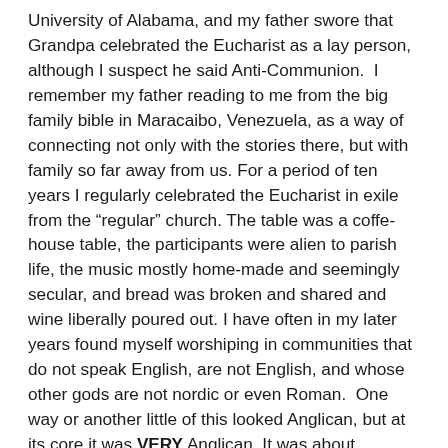University of Alabama, and my father swore that Grandpa celebrated the Eucharist as a lay person, although I suspect he said Anti-Communion.  I remember my father reading to me from the big family bible in Maracaibo, Venezuela, as a way of connecting not only with the stories there, but with family so far away from us. For a period of ten years I regularly celebrated the Eucharist in exile from the “regular” church. The table was a coffe-house table, the participants were alien to parish life, the music mostly home-made and seemingly secular, and bread was broken and shared and wine liberally poured out. I have often in my later years found myself worshiping in communities that do not speak English, are not English, and whose other gods are not nordic or even Roman.  One way or another little of this looked Anglican, but at its core it was VERY Anglican. It was about Anglican worship in exile.